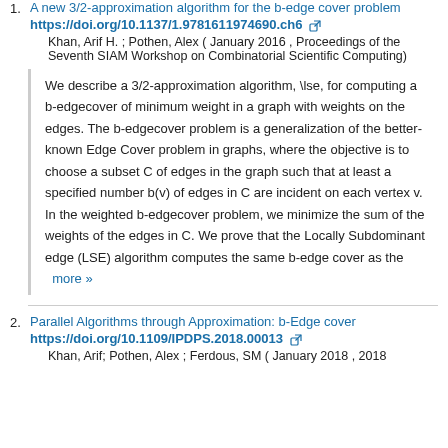1. A new 3/2-approximation algorithm for the b-edge cover problem https://doi.org/10.1137/1.9781611974690.ch6 Khan, Arif H. ; Pothen, Alex ( January 2016 , Proceedings of the Seventh SIAM Workshop on Combinatorial Scientific Computing)
We describe a 3/2-approximation algorithm, \lse, for computing a b-edgecover of minimum weight in a graph with weights on the edges. The b-edgecover problem is a generalization of the better-known Edge Cover problem in graphs, where the objective is to choose a subset C of edges in the graph such that at least a specified number b(v) of edges in C are incident on each vertex v. In the weighted b-edgecover problem, we minimize the sum of the weights of the edges in C. We prove that the Locally Subdominant edge (LSE) algorithm computes the same b-edge cover as the   more »
2. Parallel Algorithms through Approximation: b-Edge cover https://doi.org/10.1109/IPDPS.2018.00013 Khan, Arif; Pothen, Alex ; Ferdous, SM ( January 2018 , 2018